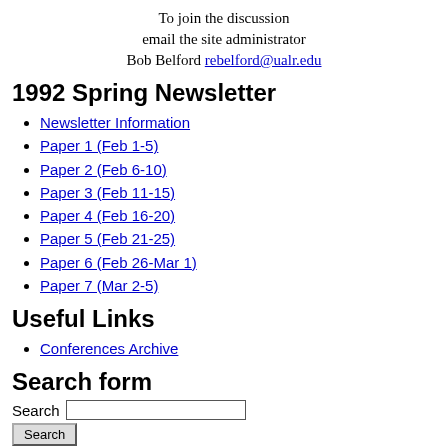To join the discussion
email the site administrator
Bob Belford rebelford@ualr.edu
1992 Spring Newsletter
Newsletter Information
Paper 1 (Feb 1-5)
Paper 2 (Feb 6-10)
Paper 3 (Feb 11-15)
Paper 4 (Feb 16-20)
Paper 5 (Feb 21-25)
Paper 6 (Feb 26-Mar 1)
Paper 7 (Mar 2-5)
Useful Links
Conferences Archive
Search form
Search [input] [Search button]